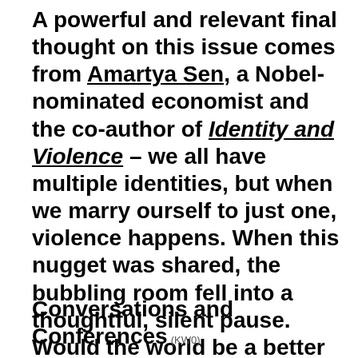A powerful and relevant final thought on this issue comes from Amartya Sen, a Nobel-nominated economist and the co-author of Identity and Violence – we all have multiple identities, but when we marry ourself to just one, violence happens. When this nugget was shared, the bubbling room fell into a thoughtful, silent pause. Would the world be a better place if more and more of its peoples participated in sharing identity? (KW0)
Conversations and Conferences (KW0)